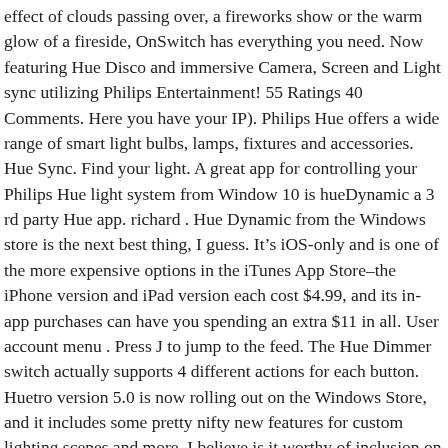effect of clouds passing over, a fireworks show or the warm glow of a fireside, OnSwitch has everything you need. Now featuring Hue Disco and immersive Camera, Screen and Light sync utilizing Philips Entertainment! 55 Ratings 40 Comments. Here you have your IP). Philips Hue offers a wide range of smart light bulbs, lamps, fixtures and accessories. Hue Sync. Find your light. A great app for controlling your Philips Hue light system from Window 10 is hueDynamic a 3 rd party Hue app. richard . Hue Dynamic from the Windows store is the next best thing, I guess. It's iOS-only and is one of the more expensive options in the iTunes App Store–the iPhone version and iPad version each cost $4.99, and its in-app purchases can have you spending an extra $11 in all. User account menu . Press J to jump to the feed. The Hue Dimmer switch actually supports 4 different actions for each button. Huetro version 5.0 is now rolling out on the Windows Store, and it includes some pretty nifty new features for custom lighting scenes and more. I believe is it worthy of inclusion on your list of great Hue apps, and was even nominated by Microsoft themselves for the “app creator of the year award” at Build 2017. Use the simple setup to connect your Hue system, and start